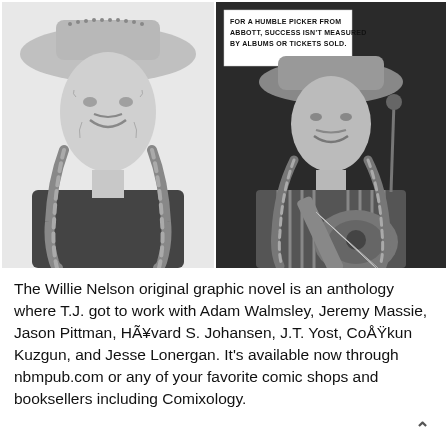[Figure (illustration): Black and white pencil/charcoal portrait illustration of Willie Nelson wearing a cowboy hat with long braids, smiling, wearing a dark t-shirt. Left panel of a two-image layout.]
[Figure (illustration): Black and white illustration of Willie Nelson playing guitar on stage wearing a cowboy hat with braids and a striped vest/shirt. Contains a caption box reading: FOR A HUMBLE PICKER FROM ABBOTT, SUCCESS ISN'T MEASURED BY ALBUMS OR TICKETS SOLD. Right panel of a two-image layout.]
The Willie Nelson original graphic novel is an anthology where T.J. got to work with Adam Walmsley, Jeremy Massie, Jason Pittman, HÃ¥vard S. Johansen, J.T. Yost, CoÅŸkun Kuzgun, and Jesse Lonergan. It's available now through nbmpub.com or any of your favorite comic shops and booksellers including Comixology.